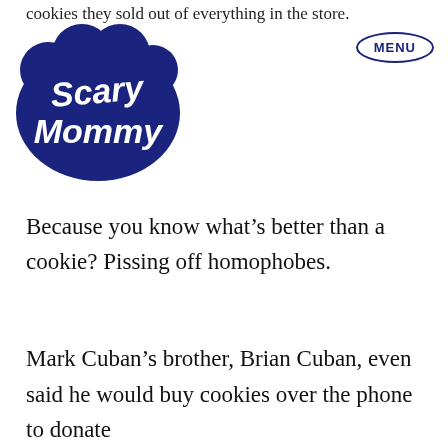cookies they sold out of everything in the store.
[Figure (logo): Scary Mommy logo — white cursive text on dark navy blue cloud/bubble shape]
[Figure (other): MENU button — oval/ellipse outline in dark navy blue with bold MENU text]
Because you know what’s better than a cookie? Pissing off homophobes.
Mark Cuban’s brother, Brian Cuban, even said he would buy cookies over the phone to donate